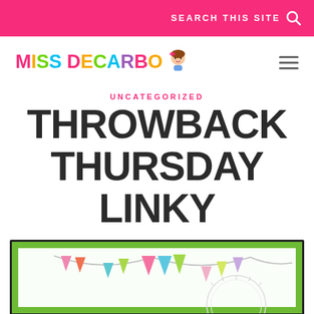SEARCH THIS SITE
[Figure (logo): Miss DeCarbo colorful logo with cartoon character]
UNCATEGORIZED
THROWBACK THURSDAY LINKY
[Figure (illustration): Colorful bunting banner illustration with pennant triangles and partial circular element]